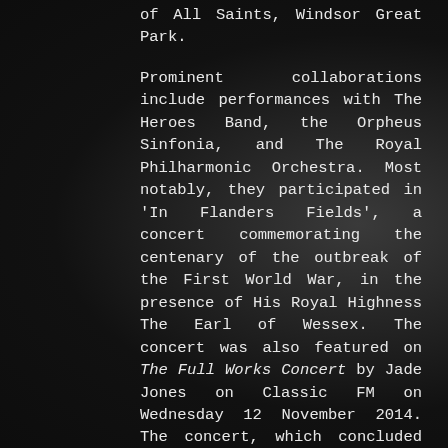of All Saints, Windsor Great Park.

Prominent collaborations include performances with The Heroes Band, the Orpheus Sinfonia, and The Royal Philharmonic Orchestra. Most notably, they participated in 'In Flanders Fields', a concert commemorating the centenary of the outbreak of the First World War, in the presence of His Royal Highness The Earl of Wessex. The concert was also featured on The Full Works Concert by Jade Jones on Classic FM on Wednesday 12 November 2014. The concert, which concluded the 45th annual Windsor Festival, featured Quire Voices alongside The Band of The Household Cavalry, soloist Kathryn Rudge, and actress Amanda Root.

If you would like to find out more about Quire Voices, please visit www.quirevoices.com